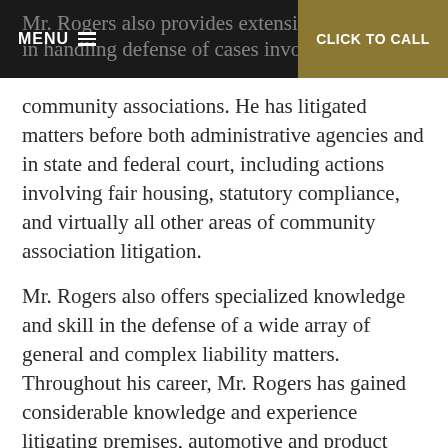MENU | CLICK TO CALL
Mr. Rogers also provides extensively in handling defense of cases involving community associations. He has litigated matters before both administrative agencies and in state and federal court, including actions involving fair housing, statutory compliance, and virtually all other areas of community association litigation.
Mr. Rogers also offers specialized knowledge and skill in the defense of a wide array of general and complex liability matters. Throughout his career, Mr. Rogers has gained considerable knowledge and experience litigating premises, automotive and product liability matters, having defended